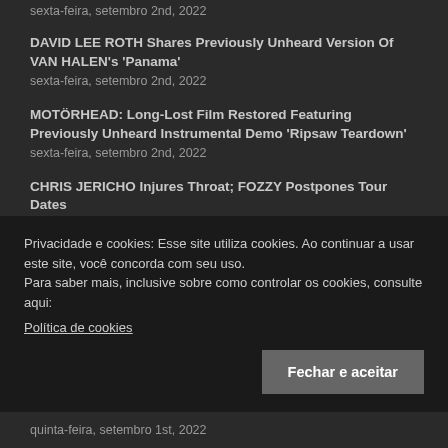sexta-feira, setembro 2nd, 2022
DAVID LEE ROTH Shares Previously Unheard Version Of VAN HALEN's 'Panama'
sexta-feira, setembro 2nd, 2022
MOTÖRHEAD: Long-Lost Film Restored Featuring Previously Unheard Instrumental Demo 'Ripsaw Teardown'
sexta-feira, setembro 2nd, 2022
CHRIS JERICHO Injures Throat; FOZZY Postpones Tour Dates
sexta-feira, setembro 2nd, 2022
SLIPKNOT's JAY WEINBERG Named 2022 'Metal
Privacidade e cookies: Esse site utiliza cookies. Ao continuar a usar este site, você concorda com seu uso.
Para saber mais, inclusive sobre como controlar os cookies, consulte aqui:
Política de cookies
Fechar e aceitar
quinta-feira, setembro 1st, 2022